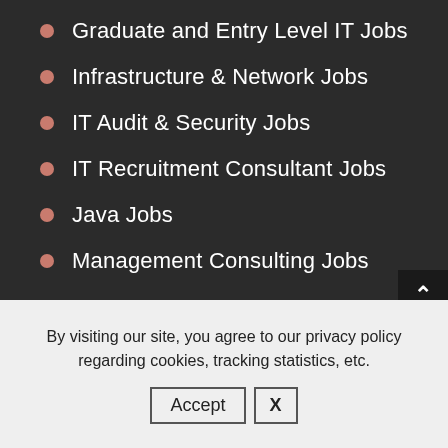Graduate and Entry Level IT Jobs
Infrastructure & Network Jobs
IT Audit & Security Jobs
IT Recruitment Consultant Jobs
Java Jobs
Management Consulting Jobs
Node.js Jobs
PHP Jobs
By visiting our site, you agree to our privacy policy regarding cookies, tracking statistics, etc.
Accept  X